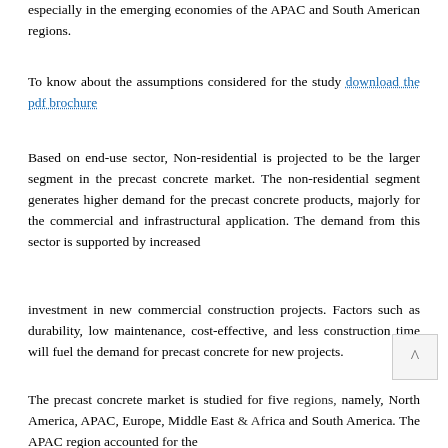especially in the emerging economies of the APAC and South American regions.
To know about the assumptions considered for the study download the pdf brochure
Based on end-use sector, Non-residential is projected to be the larger segment in the precast concrete market. The non-residential segment generates higher demand for the precast concrete products, majorly for the commercial and infrastructural application. The demand from this sector is supported by increased
investment in new commercial construction projects. Factors such as durability, low maintenance, cost-effective, and less construction time will fuel the demand for precast concrete for new projects.
The precast concrete market is studied for five regions, namely, North America, APAC, Europe, Middle East & Africa and South America. The APAC region accounted for the